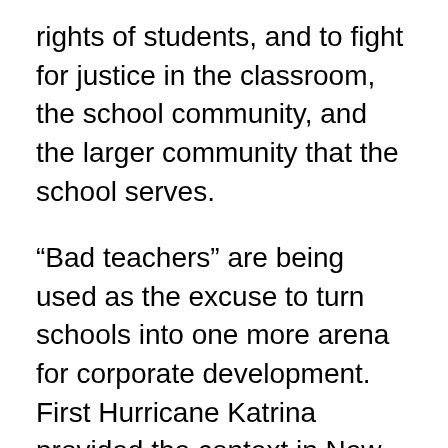rights of students, and to fight for justice in the classroom, the school community, and the larger community that the school serves.
“Bad teachers” are being used as the excuse to turn schools into one more arena for corporate development. First Hurricane Katrina provided the context in New Orleans for firing all unionized teachers and replacing most of the public education system with market-driven charter schools. Now this phony “crisis of bad teachers,” piled atop the economic crisis, is supposedly the reason to dismantle much of the country’s commitment to public education. Just in the past few